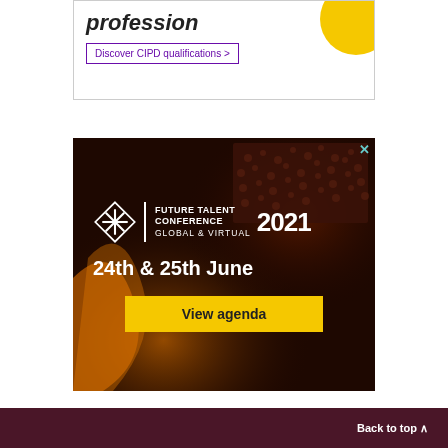[Figure (advertisement): CIPD qualifications advertisement banner with bold text 'profession' in italic, a purple-bordered button 'Discover CIPD qualifications >', and a yellow circle accent in top-right corner.]
[Figure (advertisement): Future Talent Conference 2021 Global & Virtual advertisement. Dark background with audience imagery. White snowflake logo, text '24th & 25th June', yellow 'View agenda' button. X close button in top-right.]
Back to top ^